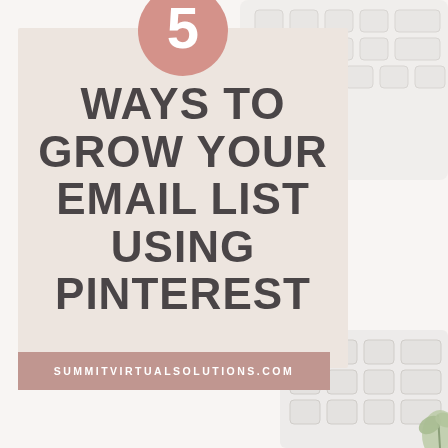[Figure (infographic): Flat-lay photo of a white keyboard on a white background with a small plant in the bottom right corner, used as background image behind the content card]
5 WAYS TO GROW YOUR EMAIL LIST USING PINTEREST
SUMMITVIRTUALSOLUTIONS.COM